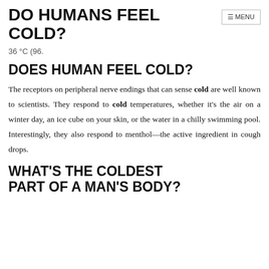DO HUMANS FEEL COLD?
36 °C (96.
DOES HUMAN FEEL COLD?
The receptors on peripheral nerve endings that can sense cold are well known to scientists. They respond to cold temperatures, whether it's the air on a winter day, an ice cube on your skin, or the water in a chilly swimming pool. Interestingly, they also respond to menthol—the active ingredient in cough drops.
WHAT'S THE COLDEST PART OF A MAN'S BODY?